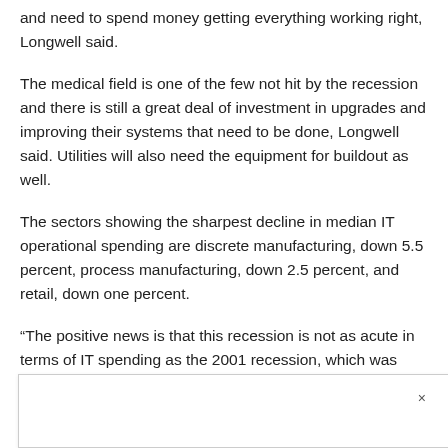and need to spend money getting everything working right, Longwell said.
The medical field is one of the few not hit by the recession and there is still a great deal of investment in upgrades and improving their systems that need to be done, Longwell said. Utilities will also need the equipment for buildout as well.
The sectors showing the sharpest decline in median IT operational spending are discrete manufacturing, down 5.5 percent, process manufacturing, down 2.5 percent, and retail, down one percent.
“The positive news is that this recession is not as acute in terms of IT spending as the 2001 recession, which was lead by the technolc… …nk Scavo in…